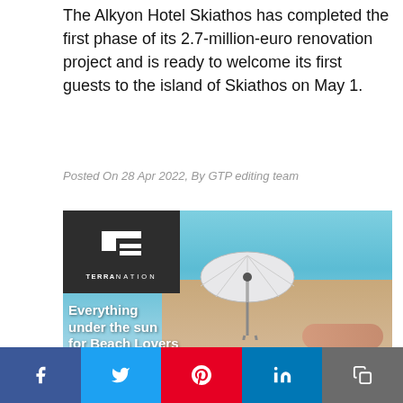The Alkyon Hotel Skiathos has completed the first phase of its 2.7-million-euro renovation project and is ready to welcome its first guests to the island of Skiathos on May 1.
Posted On 28 Apr 2022, By GTP editing team
[Figure (photo): Terra Nation advertisement showing a beach scene with turquoise water, white umbrella, and person sunbathing on sand. Dark box in top-left corner shows Terra Nation logo with white cross icon. Text reads 'Everything under the sun for Beach Lovers'.]
Social share bar with Facebook, Twitter, Pinterest, LinkedIn, Copy buttons